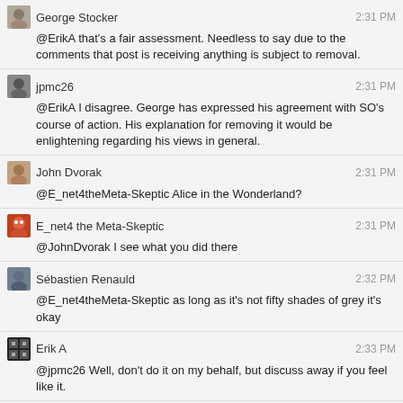George Stocker 2:31 PM @ErikA that's a fair assessment. Needless to say due to the comments that post is receiving anything is subject to removal.
jpmc26 2:31 PM @ErikA I disagree. George has expressed his agreement with SO's course of action. His explanation for removing it would be enlightening regarding his views in general.
John Dvorak 2:31 PM @E_net4theMeta-Skeptic Alice in the Wonderland?
E_net4 the Meta-Skeptic 2:31 PM @JohnDvorak I see what you did there
Sébastien Renauld 2:32 PM @E_net4theMeta-Skeptic as long as it's not fifty shades of grey it's okay
Erik A 2:33 PM @jpmc26 Well, don't do it on my behalf, but discuss away if you feel like it.
Veskah 2:34 PM @JohnDvorak We're all mad here
John Dvorak 2:34 PM And that's okay
Dan Neely 2:34 PM @E_net4theMeta-Skeptic Alexander and the Terrible, Horrible, No Good, Very Bad